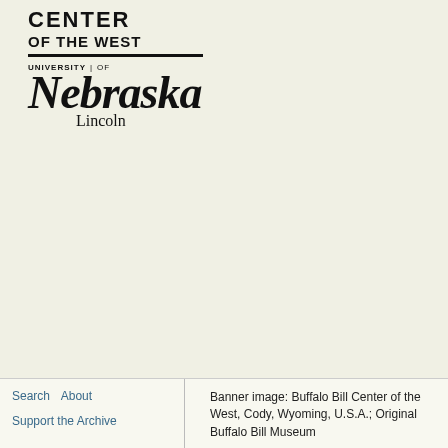[Figure (logo): Center of the West logo with bold uppercase text 'CENTER OF THE WEST', a horizontal rule, and University of Nebraska Lincoln logo in serif italic font]
Search   About
Support the Archive
Banner image: Buffalo Bill Center of the West, Cody, Wyoming, U.S.A.; Original Buffalo Bill Museum